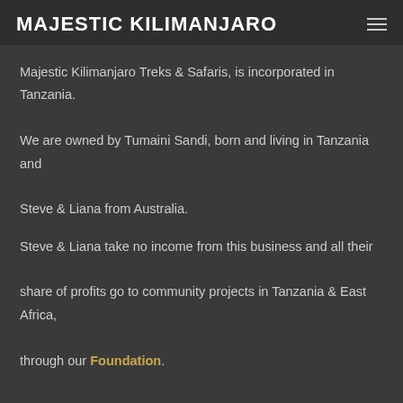MAJESTIC KILIMANJARO
Majestic Kilimanjaro Treks & Safaris, is incorporated in Tanzania. We are owned by Tumaini Sandi, born and living in Tanzania and Steve & Liana from Australia.
Steve & Liana take no income from this business and all their share of profits go to community projects in Tanzania & East Africa, through our Foundation.
WE ARE PROUD WINNERS OF TRIPADVISOR CERTIFICATE OF EXCELLENCE/TRAVELERS' CHOICE AWARD IN 2017, 2018, 2019, 2020